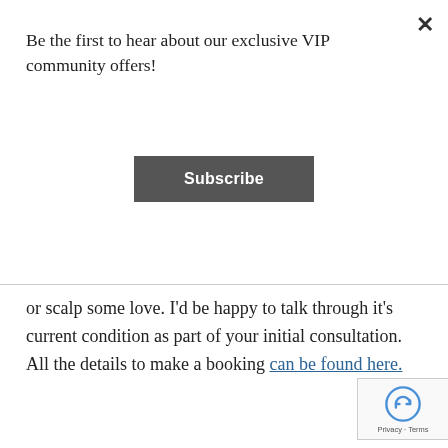Be the first to hear about our exclusive VIP community offers!
[Figure (other): Subscribe button — dark grey rectangular button with white bold text 'Subscribe']
or scalp some love. I'd be happy to talk through it's current condition as part of your initial consultation. All the details to make a booking can be found here.
This entry was posted in Hair Salon Scarborough, Hair Salon Trigg, Health and Hair, Nutrition, Trichology, Uncategorized and tagged hair health, Hairdresser Carine, Hairdresser Karrinyup, Hairdresser North Beach, Hairdresser Scarborough, Hairdresser Sorrento, Hairdresser Trigg, Hairdresser Wembley Downs, how to look after your hair, Macdonald Hair, Scalp issues on November 5, 2019 by Sam Macdonald.